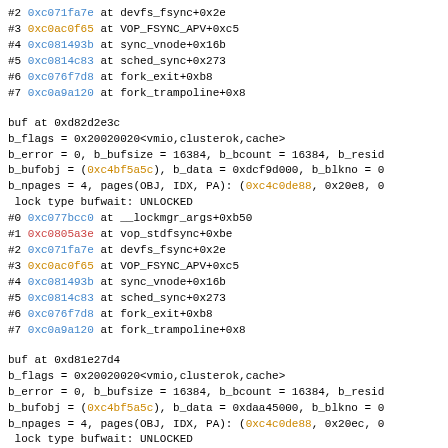#2 0xc071fa7e at devfs_fsync+0x2e
#3 0xc0ac0f65 at VOP_FSYNC_APV+0xc5
#4 0xc081493b at sync_vnode+0x16b
#5 0xc0814c83 at sched_sync+0x273
#6 0xc076f7d8 at fork_exit+0xb8
#7 0xc0a9a120 at fork_trampoline+0x8
buf at 0xd82d2e3c
b_flags = 0x20020020<vmio,clusterok,cache>
b_error = 0, b_bufsize = 16384, b_bcount = 16384, b_resid
b_bufobj = (0xc4bf5a5c), b_data = 0xdcf9d000, b_blkno = 0
b_npages = 4, pages(OBJ, IDX, PA): (0xc4c0de88, 0x20e8, 0
 lock type bufwait: UNLOCKED
#0 0xc077bcc0 at __lockmgr_args+0xb50
#1 0xc0805a3e at vop_stdfsync+0xbe
#2 0xc071fa7e at devfs_fsync+0x2e
#3 0xc0ac0f65 at VOP_FSYNC_APV+0xc5
#4 0xc081493b at sync_vnode+0x16b
#5 0xc0814c83 at sched_sync+0x273
#6 0xc076f7d8 at fork_exit+0xb8
#7 0xc0a9a120 at fork_trampoline+0x8
buf at 0xd81e27d4
b_flags = 0x20020020<vmio,clusterok,cache>
b_error = 0, b_bufsize = 16384, b_bcount = 16384, b_resid
b_bufobj = (0xc4bf5a5c), b_data = 0xdaa45000, b_blkno = 0
b_npages = 4, pages(OBJ, IDX, PA): (0xc4c0de88, 0x20ec, 0
 lock type bufwait: UNLOCKED
#0 0xc077bcc0 at __lockmgr_args+0xb50
#1 0xc0805a3e at vop_stdfsync+0xbe